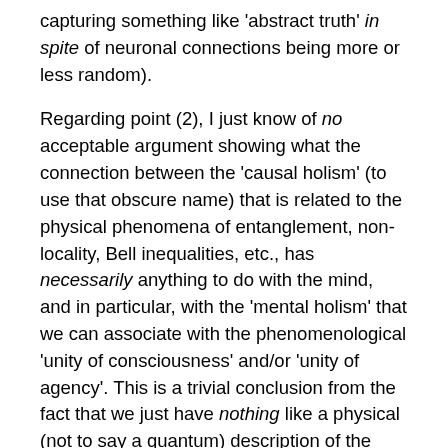capturing something like 'abstract truth' in spite of neuronal connections being more or less random).
Regarding point (2), I just know of no acceptable argument showing what the connection between the 'causal holism' (to use that obscure name) that is related to the physical phenomena of entanglement, non-locality, Bell inequalities, etc., has necessarily anything to do with the mind, and in particular, with the 'mental holism' that we can associate with the phenomenological 'unity of consciousness' and/or 'unity of agency'. This is a trivial conclusion from the fact that we just have nothing like a physical (not to say a quantum) description of the working of the mind. Compare this case with other attempts to apply quantum physics to our understanding of difficult phenomena, like chemical bonds or neutron stars: what we needed in cases like these was a way of showing that some equations derived (even with 'adjustments')